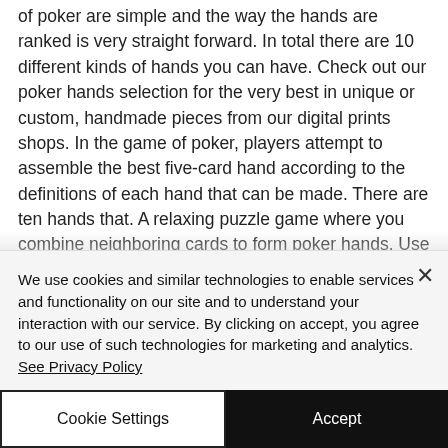of poker are simple and the way the hands are ranked is very straight forward. In total there are 10 different kinds of hands you can have. Check out our poker hands selection for the very best in unique or custom, handmade pieces from our digital prints shops. In the game of poker, players attempt to assemble the best five-card hand according to the definitions of each hand that can be made. There are ten hands that. A relaxing puzzle game where you combine neighboring cards to form poker hands. Use
We use cookies and similar technologies to enable services and functionality on our site and to understand your interaction with our service. By clicking on accept, you agree to our use of such technologies for marketing and analytics. See Privacy Policy